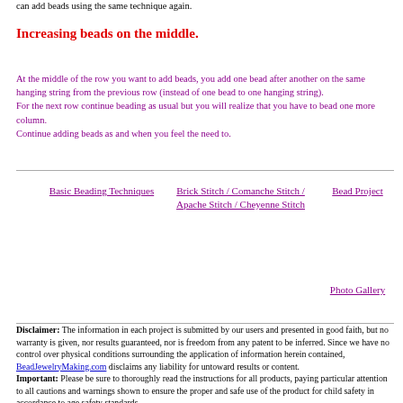can add beads using the same technique again.
Increasing beads on the middle.
At the middle of the row you want to add beads, you add one bead after another on the same hanging string from the previous row (instead of one bead to one hanging string).
For the next row continue beading as usual but you will realize that you have to bead one more column.
Continue adding beads as and when you feel the need to.
Basic Beading Techniques
Brick Stitch / Comanche Stitch / Apache Stitch / Cheyenne Stitch
Bead Project
Photo Gallery
Disclaimer: The information in each project is submitted by our users and presented in good faith, but no warranty is given, nor results guaranteed, nor is freedom from any patent to be inferred. Since we have no control over physical conditions surrounding the application of information herein contained, BeadJewelryMaking.com disclaims any liability for untoward results or content.
Important: Please be sure to thoroughly read the instructions for all products, paying particular attention to all cautions and warnings shown to ensure the proper and safe use of the product for child safety in accordance to age safety standards.